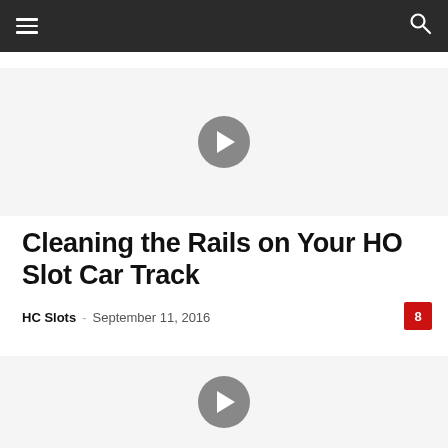Navigation header with hamburger menu and search icon
[Figure (screenshot): Video thumbnail area with gray play button circle, top video]
Cleaning the Rails on Your HO Slot Car Track
HC Slots - September 11, 2016
[Figure (screenshot): Video thumbnail area with gray play button circle, bottom video]